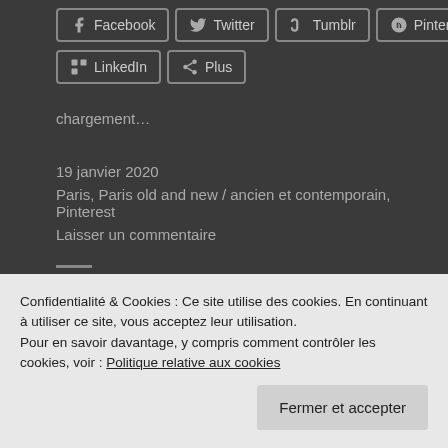[Figure (screenshot): Social share buttons row 1: Facebook, Twitter, Tumblr, Pinterest]
[Figure (screenshot): Social share buttons row 2: LinkedIn, Plus]
chargement…
19 janvier 2020
Paris, Paris old and new / ancien et contemporain, Pinterest
Laisser un commentaire
Confidentialité & Cookies : Ce site utilise des cookies. En continuant à utiliser ce site, vous acceptez leur utilisation.
Pour en savoir davantage, y compris comment contrôler les cookies, voir : Politique relative aux cookies
Fermer et accepter